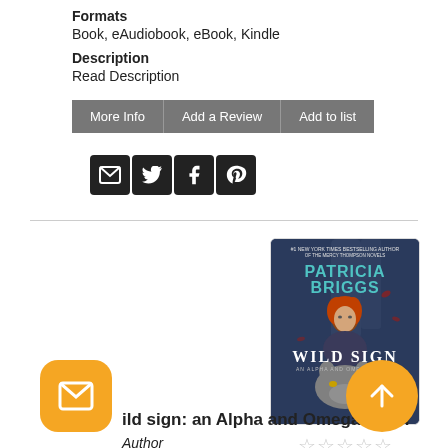Formats
Book, eAudiobook, eBook, Kindle
Description
Read Description
More Info | Add a Review | Add to list
[Figure (screenshot): Social sharing icons: email, Twitter, Facebook, Pinterest]
[Figure (illustration): Book cover for Wild Sign: An Alpha and Omega Novel by Patricia Briggs, showing a woman with red hair and a wolf, dark atmospheric background]
[Figure (other): Five empty star rating icons]
ild sign: an Alpha and Omega novel
Author
[Figure (other): Floating action button: envelope/mail icon, orange rounded square]
[Figure (other): Floating action button: up arrow, orange circle]